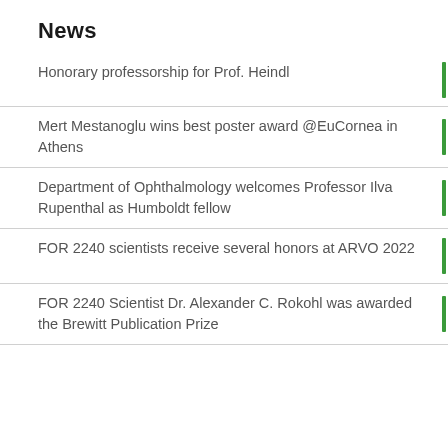News
Honorary professorship for Prof. Heindl
Mert Mestanoglu wins best poster award @EuCornea in Athens
Department of Ophthalmology welcomes Professor Ilva Rupenthal as Humboldt fellow
FOR 2240 scientists receive several honors at ARVO 2022
FOR 2240 Scientist Dr. Alexander C. Rokohl was awarded the Brewitt Publication Prize